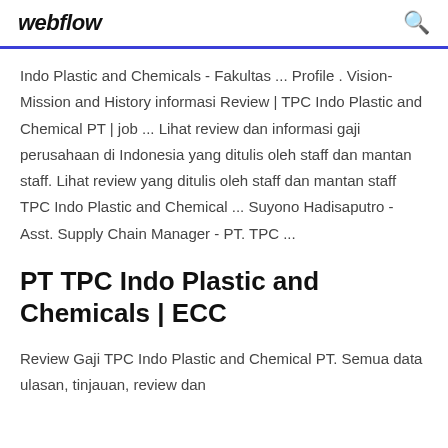webflow
Indo Plastic and Chemicals - Fakultas ... Profile . Vision-Mission and History informasi Review | TPC Indo Plastic and Chemical PT | job ... Lihat review dan informasi gaji perusahaan di Indonesia yang ditulis oleh staff dan mantan staff. Lihat review yang ditulis oleh staff dan mantan staff TPC Indo Plastic and Chemical ... Suyono Hadisaputro - Asst. Supply Chain Manager - PT. TPC ...
PT TPC Indo Plastic and Chemicals | ECC
Review Gaji TPC Indo Plastic and Chemical PT. Semua data ulasan, tinjauan, review dan